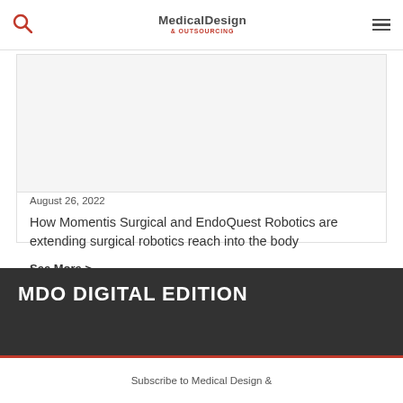Medical Design & Outsourcing
[Figure (photo): Article image placeholder for surgical robotics article]
August 26, 2022
How Momentis Surgical and EndoQuest Robotics are extending surgical robotics reach into the body
See More >
MDO DIGITAL EDITION
Subscribe to Medical Design &